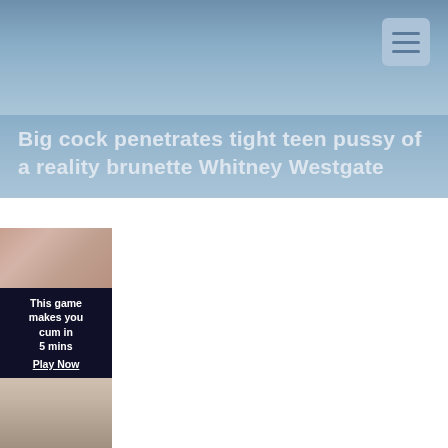Big cock penetrates tight teen pussy of a reality brunette Whitney Westgate
[Figure (photo): Adult content advertisement banner with dark background and bold white text reading: This game makes you cum in 5 mins Play Now]
[Figure (photo): Partial adult content image in lower portion of left column]